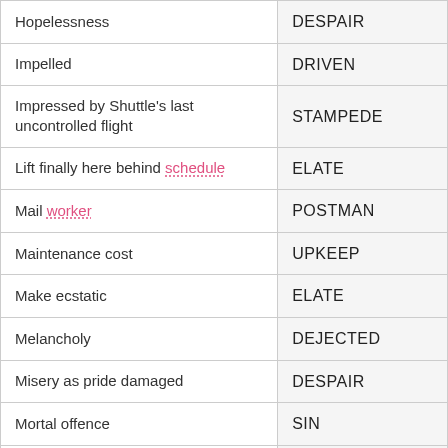| Clue | Answer |
| --- | --- |
| Hopelessness | DESPAIR |
| Impelled | DRIVEN |
| Impressed by Shuttle's last uncontrolled flight | STAMPEDE |
| Lift finally here behind schedule | ELATE |
| Mail worker | POSTMAN |
| Maintenance cost | UPKEEP |
| Make ecstatic | ELATE |
| Melancholy | DEJECTED |
| Misery as pride damaged | DESPAIR |
| Mortal offence | SIN |
| Not illuminated | UNLIT |